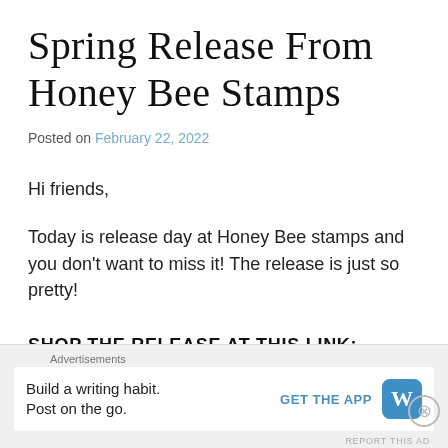Spring Release From Honey Bee Stamps
Posted on February 22, 2022
Hi friends,
Today is release day at Honey Bee stamps and you don't want to miss it! The release is just so pretty!
SHOP THE RELEASE AT THIS LINK:
https://shrsl.com/3ebbc
Advertisements
Build a writing habit. Post on the go. GET THE APP